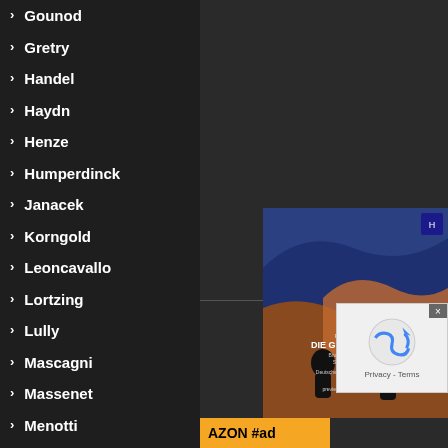Gounod
Gretry
Handel
Haydn
Henze
Humperdinck
Janacek
Korngold
Leoncavallo
Lortzing
Lully
Mascagni
Massenet
Menotti
Meyerbeer
Monteverdi
Mozart
[Figure (photo): Book cover for Franz Schreker Die Gezeichneten featuring dark blue background with stylized figures]
AZON #ad
[Figure (screenshot): reCAPTCHA widget with Privacy - Terms text]